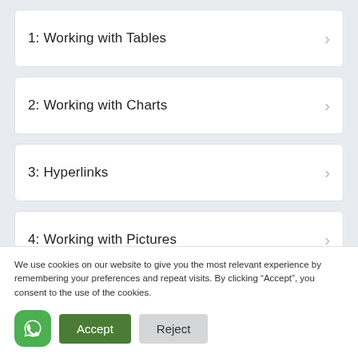1: Working with Tables
2: Working with Charts
3: Hyperlinks
4: Working with Pictures
5: Adding Audio
We use cookies on our website to give you the most relevant experience by remembering your preferences and repeat visits. By clicking “Accept”, you consent to the use of the cookies.